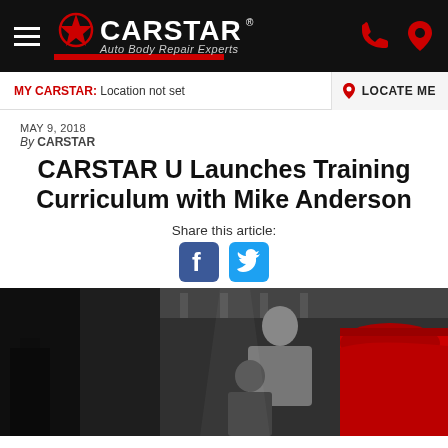[Figure (logo): CARSTAR Auto Body Repair Experts logo with red star on black header bar, hamburger menu on left, phone and location icons on right]
MY CARSTAR: Location not set
LOCATE ME
MAY 9, 2018
By CARSTAR
CARSTAR U Launches Training Curriculum with Mike Anderson
Share this article:
[Figure (illustration): Facebook and Twitter share icons]
[Figure (photo): Black and white photo of two auto body technicians working on a red car in a repair shop; one technician is leaning over inspecting the vehicle while another assists]